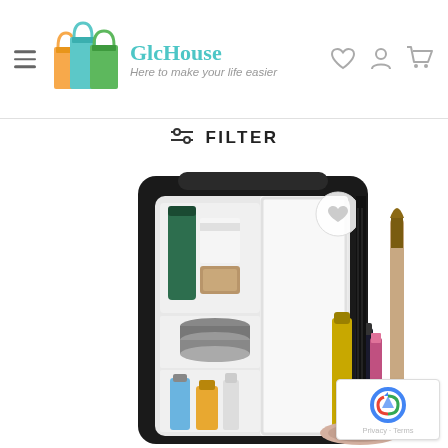[Figure (logo): GlcHouse logo with colorful shopping bags and text 'GlcHouse Here to make your life easier']
≡ FILTER
[Figure (photo): Mini beauty refrigerator/fridge shown open with skincare products inside (green bottle, cosmetics, perfume bottles) and beauty tools like makeup brush and lip gloss visible next to it on a white background. A heart wishlist icon appears in top right corner of the product.]